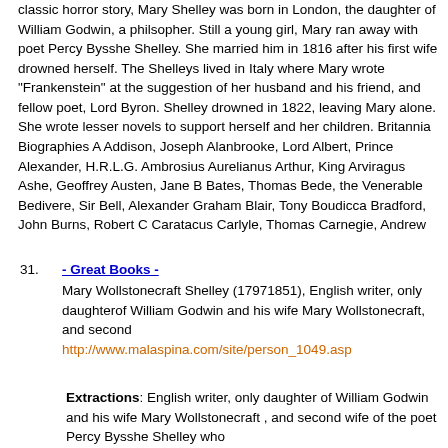classic horror story, Mary Shelley was born in London, the daughter of William Godwin, a philsopher. Still a young girl, Mary ran away with poet Percy Bysshe Shelley. She married him in 1816 after his first wife drowned herself. The Shelleys lived in Italy where Mary wrote "Frankenstein" at the suggestion of her husband and his friend, and fellow poet, Lord Byron. Shelley drowned in 1822, leaving Mary alone. She wrote lesser novels to support herself and her children. Britannia Biographies A Addison, Joseph Alanbrooke, Lord Albert, Prince Alexander, H.R.L.G. Ambrosius Aurelianus Arthur, King Arviragus Ashe, Geoffrey Austen, Jane B Bates, Thomas Bede, the Venerable Bedivere, Sir Bell, Alexander Graham Blair, Tony Boudicca Bradford, John Burns, Robert C Caratacus Carlyle, Thomas Carnegie, Andrew
31. - Great Books - Mary Wollstonecraft Shelley (17971851), English writer, only daughterof William Godwin and his wife Mary Wollstonecraft, and second http://www.malaspina.com/site/person_1049.asp
Extractions: English writer, only daughter of William Godwin and his wife Mary Wollstonecraft , and second wife of the poet Percy Bysshe Shelley who